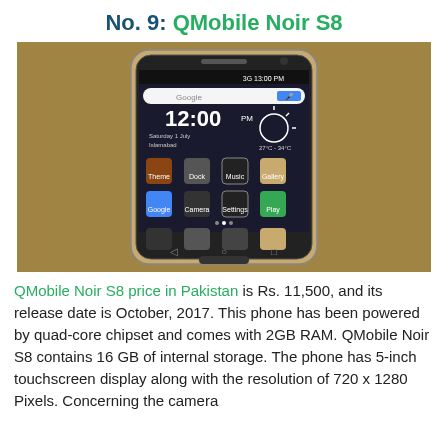No. 9: QMobile Noir S8
[Figure (photo): QMobile Noir S8 smartphone displayed against a tan/khaki background, showing Android home screen with clock displaying 12:00 PM, Google search bar, and various app icons.]
QMobile Noir S8 price in Pakistan is Rs. 11,500, and its release date is October, 2017. This phone has been powered by quad-core chipset and comes with 2GB RAM. QMobile Noir S8 contains 16 GB of internal storage. The phone has 5-inch touchscreen display along with the resolution of 720 x 1280 Pixels. Concerning the camera